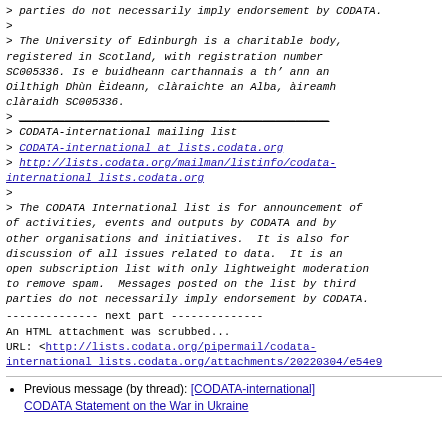> parties do not necessarily imply endorsement by CODATA.
>
> The University of Edinburgh is a charitable body,
registered in Scotland, with registration number
SC005336. Is e buidheann carthannais a th' ann an
Oilthigh Dhùn Èideann, clàraichte an Alba, àireamh
clàraidh SC005336.
> ___
> CODATA-international mailing list
> CODATA-international at lists.codata.org
> http://lists.codata.org/mailman/listinfo/codata-international lists.codata.org
>
> The CODATA International list is for announcement of
of activities, events and outputs by CODATA and by
other organisations and initiatives.  It is also for
discussion of all issues related to data.  It is an
open subscription list with only lightweight moderation
to remove spam.  Messages posted on the list by third
parties do not necessarily imply endorsement by CODATA.
-------------- next part --------------
An HTML attachment was scrubbed...
URL: <http://lists.codata.org/pipermail/codata-international lists.codata.org/attachments/20220304/e54e9...>
Previous message (by thread): [CODATA-international] CODATA Statement on the War in Ukraine